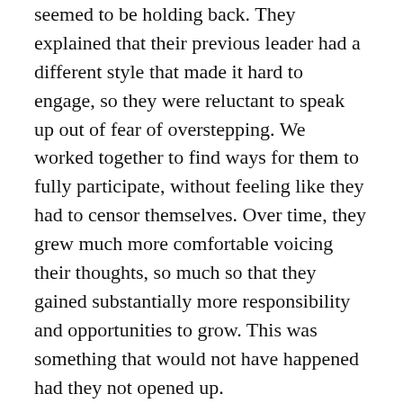seemed to be holding back. They explained that their previous leader had a different style that made it hard to engage, so they were reluctant to speak up out of fear of overstepping. We worked together to find ways for them to fully participate, without feeling like they had to censor themselves. Over time, they grew much more comfortable voicing their thoughts, so much so that they gained substantially more responsibility and opportunities to grow. This was something that would not have happened had they not opened up.
Sometimes we hold ourselves back to feel safe or to protect ourselves, but staying silent comes with a cost. Yes, when you put yourself out there, there’s a risk involved. You are opening yourself up to the judgment of others. But at the same time, it is taking that risk that allows you to hone your leadership and evolve. Growth